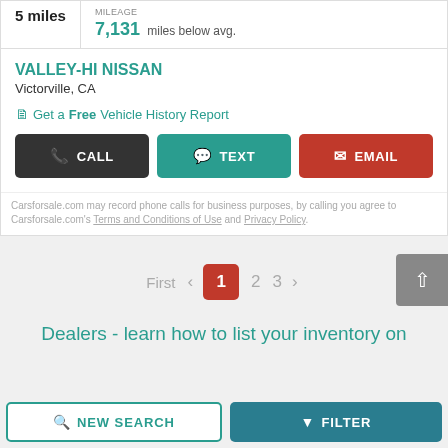5 miles
MILEAGE
7,131 miles below avg.
VALLEY-HI NISSAN
Victorville, CA
Get a Free Vehicle History Report
CALL | TEXT | EMAIL
Carsforsale.com may record phone calls for business purposes, by calling you agree to Carsforsale.com's Terms and Conditions of Use and Privacy Policy.
First  <  1  2  3  >
Dealers - learn how to list your inventory on
NEW SEARCH | FILTER